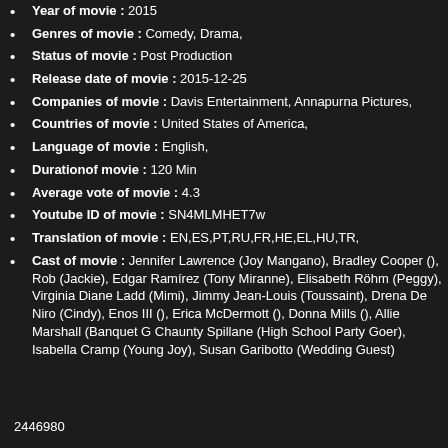Year of movie : 2015
Genres of movie : Comedy, Drama,
Status of movie : Post Production
Release date of movie : 2015-12-25
Companies of movie : Davis Entertainment, Annapurna Pictures,
Countries of movie : United States of America,
Language of movie : English,
Durationof movie : 120 Min
Average vote of movie : 4.3
Youtube ID of movie : SN4MLMHET7w
Translation of movie : EN,ES,PT,RU,FR,HE,EL,HU,TR,
Cast of movie : Jennifer Lawrence (Joy Mangano), Bradley Cooper (), Rob (Jackie), Edgar Ramírez (Tony Miranne), Elisabeth Röhm (Peggy), Virginia Diane Ladd (Mimi), Jimmy Jean-Louis (Toussaint), Drena De Niro (Cindy), Enos III (), Erica McDermott (), Donna Mills (), Allie Marshall (Banquet G Chaunty Spillane (High School Party Goer), Isabella Cramp (Young Joy), Susan Garibotto (Wedding Guest)
2446980